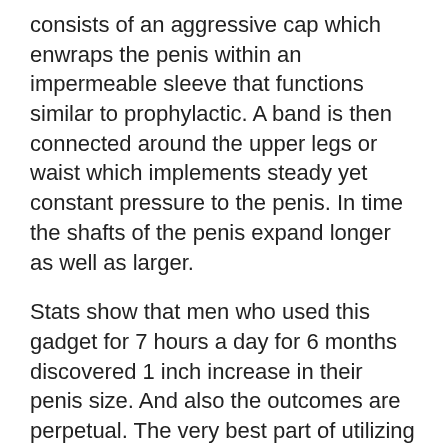consists of an aggressive cap which enwraps the penis within an impermeable sleeve that functions similar to prophylactic. A band is then connected around the upper legs or waist which implements steady yet constant pressure to the penis. In time the shafts of the penis expand longer as well as larger.
Stats show that men who used this gadget for 7 hours a day for 6 months discovered 1 inch increase in their penis size. And also the outcomes are perpetual. The very best part of utilizing this gadget is that it has no negative effects if you adhere to the maker’s instructions effectively.
Size Genetics